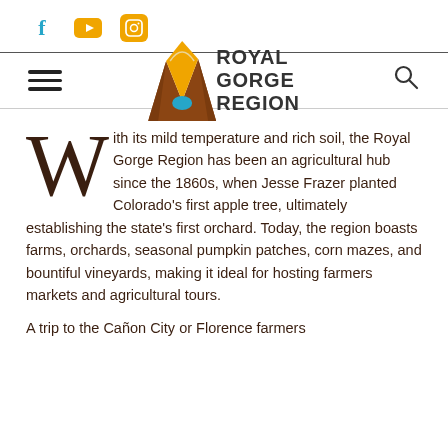[Figure (logo): Social media icons: Facebook (f, teal), YouTube (orange rounded rectangle), Instagram (orange rounded square)]
[Figure (logo): Royal Gorge Region logo with stylized canyon/gorge graphic and bold text 'ROYAL GORGE REGION']
With its mild temperature and rich soil, the Royal Gorge Region has been an agricultural hub since the 1860s, when Jesse Frazer planted Colorado's first apple tree, ultimately establishing the state's first orchard. Today, the region boasts farms, orchards, seasonal pumpkin patches, corn mazes, and bountiful vineyards, making it ideal for hosting farmers markets and agricultural tours.
A trip to the Cañon City or Florence farmers